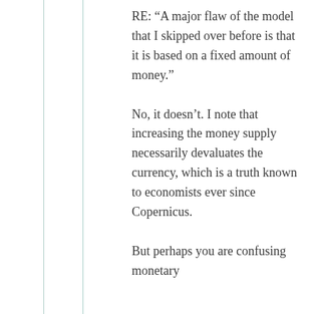RE: “A major flaw of the model that I skipped over before is that it is based on a fixed amount of money.”
No, it doesn’t. I note that increasing the money supply necessarily devaluates the currency, which is a truth known to economists ever since Copernicus.
But perhaps you are confusing monetary